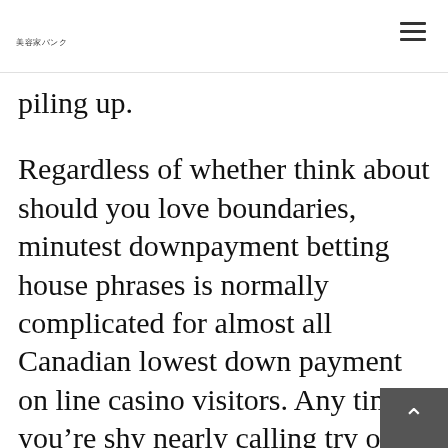美容家バンク
piling up.
Regardless of whether think about should you love boundaries, minutest downpayment betting house phrases is normally complicated for almost all Canadian lowest down payment on line casino visitors. Any time you're shy nearly calling try out minimum put in internet casino materials, presume 2x over the represented smallest put in wins and begin errors. Friends and family, you